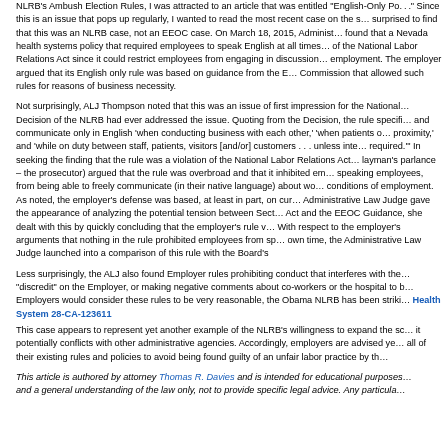NLRB's Ambush Election Rules, I was attracted to an article that was entitled "English-Only Po... ." Since this is an issue that pops up regularly, I wanted to read the most recent case on the s... surprised to find that this was an NLRB case, not an EEOC case. On March 18, 2015, Administ... found that a Nevada health systems policy that required employees to speak English at all times... of the National Labor Relations Act since it could restrict employees from engaging in discussion... employment. The employer argued that its English only rule was based on guidance from the E... Commission that allowed such rules for reasons of business necessity.
Not surprisingly, ALJ Thompson noted that this was an issue of first impression for the National... Decision of the NLRB had ever addressed the issue. Quoting from the Decision, the rule specifi... and communicate only in English 'when conducting business with each other,' 'when patients o... proximity,' and 'while on duty between staff, patients, visitors [and/or] customers . . . unless inte... required.'' In seeking the finding that the rule was a violation of the National Labor Relations Ac... layman's parlance – the prosecutor) argued that the rule was overbroad and that it inhibited em... speaking employees, from being able to freely communicate (in their native language) about wo... conditions of employment. As noted, the employer's defense was based, at least in part, on cur... Administrative Law Judge gave the appearance of analyzing the potential tension between Sect... Act and the EEOC Guidance, she dealt with this by quickly concluding that the employer's rule... With respect to the employer's arguments that nothing in the rule prohibited employees from sp... own time, the Administrative Law Judge launched into a comparison of this rule with the Board's
Less surprisingly, the ALJ also found Employer rules prohibiting conduct that interferes with the... "discredit" on the Employer, or making negative comments about co-workers or the hospital to b... Employers would consider these rules to be very reasonable, the Obama NLRB has been striki...
Health System 28-CA-123611
This case appears to represent yet another example of the NLRB's willingness to expand the sc... it potentially conflicts with other administrative agencies. Accordingly, employers are advised ye... all of their existing rules and policies to avoid being found guilty of an unfair labor practice by th...
This article is authored by attorney Thomas R. Davies and is intended for educational purposes... and a general understanding of the law only, not to provide specific legal advice. Any particula...